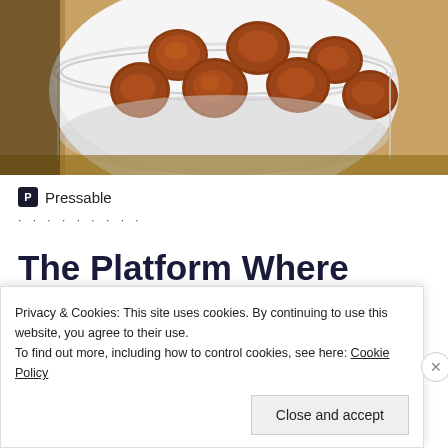[Figure (photo): Photo of meatballs in a white ridged ceramic bowl on a tan/wooden surface, viewed from above, cropped at top and sides.]
[Figure (logo): Pressable logo: dark square icon with letter P followed by text 'Pressable', with a dotted line separator below.]
The Platform Where WordPress Works Best
[Figure (screenshot): Blue SEE PRICING button, partially visible at bottom right.]
Privacy & Cookies: This site uses cookies. By continuing to use this website, you agree to their use.
To find out more, including how to control cookies, see here: Cookie Policy
Close and accept